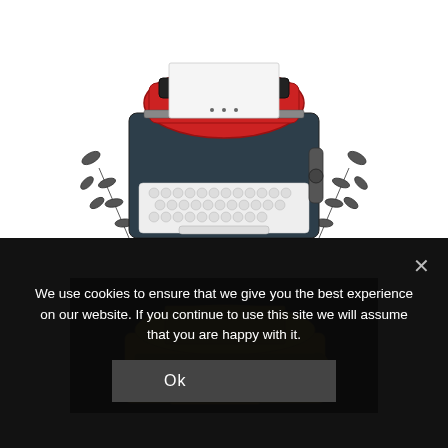[Figure (illustration): Decorative typewriter illustration with red body and dark keyboard, surrounded by leaves/branches, in black and white ink style with red color accent]
WRITING BLOGS
[Figure (photo): Photo of a gold/yellow vintage typewriter on a black background]
We use cookies to ensure that we give you the best experience on our website. If you continue to use this site we will assume that you are happy with it.